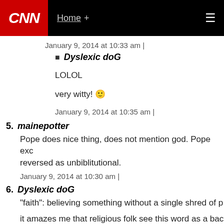CNN Home +
January 9, 2014 at 10:33 am |
Dyslexic doG

LOLOL

very witty! 🙂

January 9, 2014 at 10:35 am |
5. mainepotter

Pope does nice thing, does not mention god. Pope exc... reversed as unbiblitutional.

January 9, 2014 at 10:30 am |
6. Dyslexic doG

"faith": believing something without a single shred of p...

it amazes me that religious folk see this word as a bac... logical thinking person sees it as a mark of foolishness...